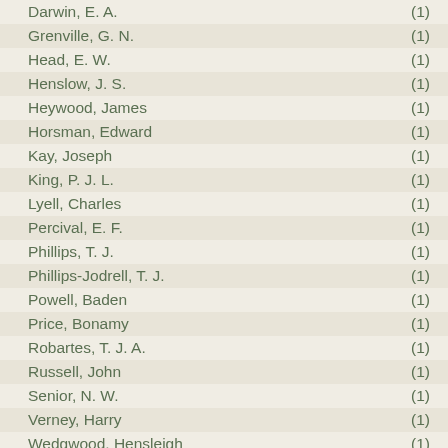Darwin, E. A. (1)
Grenville, G. N. (1)
Head, E. W. (1)
Henslow, J. S. (1)
Heywood, James (1)
Horsman, Edward (1)
Kay, Joseph (1)
King, P. J. L. (1)
Lyell, Charles (1)
Percival, E. F. (1)
Phillips, T. J. (1)
Phillips-Jodrell, T. J. (1)
Powell, Baden (1)
Price, Bonamy (1)
Robartes, T. J. A. (1)
Russell, John (1)
Senior, N. W. (1)
Verney, Harry (1)
Wedgwood, Hensleigh (1)